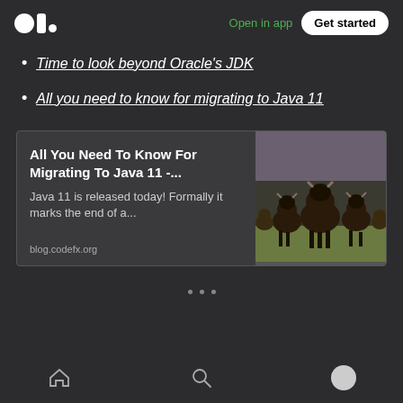Open in app | Get started
Time to look beyond Oracle's JDK
All you need to know for migrating to Java 11
[Figure (screenshot): Article card with title 'All You Need To Know For Migrating To Java 11 -...' and description 'Java 11 is released today! Formally it marks the end of a...' from blog.codefx.org, with a photo of bison running in a field]
Home | Search | Profile